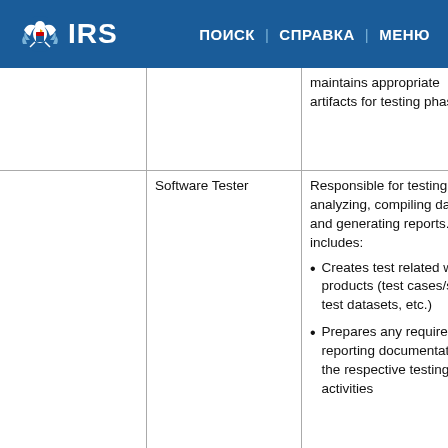IRS | ПОИСК | СПРАВКА | МЕНЮ
|  | Role | Description |
| --- | --- | --- |
|  |  | maintains appropriate artifacts for testing phases |
|  | Software Tester | Responsible for testing, analyzing, compiling data, and generating reports. This includes:
• Creates test related work products (test cases/scripts, test datasets, etc.)
• Prepares any required reporting documentation for the respective testing activities |